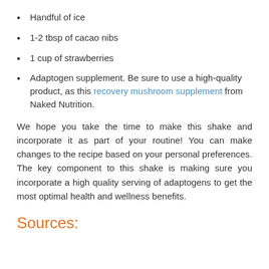Handful of ice
1-2 tbsp of cacao nibs
1 cup of strawberries
Adaptogen supplement. Be sure to use a high-quality product, as this recovery mushroom supplement from Naked Nutrition.
We hope you take the time to make this shake and incorporate it as part of your routine! You can make changes to the recipe based on your personal preferences. The key component to this shake is making sure you incorporate a high quality serving of adaptogens to get the most optimal health and wellness benefits.
Sources: